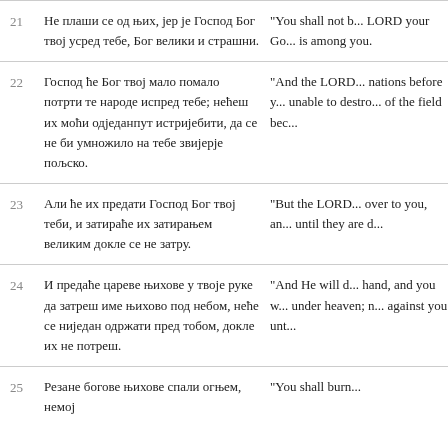21 Не плаши се од њих, јер је Господ Бог твој усред тебе, Бог велики и страшни. | "You shall not b... LORD your Go... is among you.
22 Господ ће Бог твој мало помало потрти те народе испред тебе; нећеш их моћи одједанпут истријебити, да се не би умножило на тебе звијерје пољско. | "And the LORD... nations before y... unable to destro... of the field bec...
23 Али ће их предати Господ Бог твој теби, и затираће их затирањем великим докле се не затру. | "But the LORD... over to you, an... until they are d...
24 И предаће цареве њихове у твоје руке да затреш име њихово под небом, неће се ниједан одржати пред тобом, докле их не потреш. | "And He will d... hand, and you w... under heaven; n... against you unt...
25 Резане богове њихове спали огњем, немој | "You shall burn...